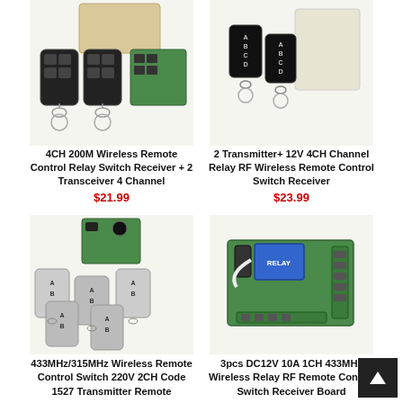[Figure (photo): 4CH 200M Wireless Remote Control Relay Switch Receiver with 2 remote controls and relay board]
4CH 200M Wireless Remote Control Relay Switch Receiver + 2 Transceiver 4 Channel
$21.99
[Figure (photo): 2 Transmitter + 12V 4CH Channel Relay RF Wireless Remote Control Switch Receiver with white box and 2 black remotes]
2 Transmitter+ 12V 4CH Channel Relay RF Wireless Remote Control Switch Receiver
$23.99
[Figure (photo): 433MHz/315MHz Wireless Remote Control Switch 220V 2CH Code 1527 Transmitter Remote with multiple silver remotes and green PCB]
433MHz/315MHz Wireless Remote Control Switch 220V 2CH Code 1527 Transmitter Remote
[Figure (photo): 3pcs DC12V 10A 1CH 433MHz Wireless Relay RF Remote Control Switch Receiver Board - green PCB with blue relay]
3pcs DC12V 10A 1CH 433MHz Wireless Relay RF Remote Control Switch Receiver Board